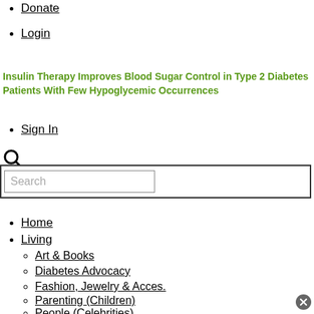Donate
Login
Insulin Therapy Improves Blood Sugar Control in Type 2 Diabetes Patients With Few Hypoglycemic Occurrences
Sign In
[Figure (other): Search icon (magnifying glass)]
Search (input box)
Home
Living
Art & Books
Diabetes Advocacy
Fashion, Jewelry & Acces.
Parenting (Children)
People (Celebrities)
Personal